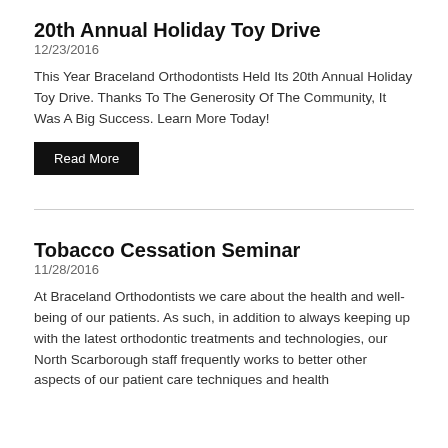20th Annual Holiday Toy Drive
12/23/2016
This Year Braceland Orthodontists Held Its 20th Annual Holiday Toy Drive. Thanks To The Generosity Of The Community, It Was A Big Success. Learn More Today!
Read More
Tobacco Cessation Seminar
11/28/2016
At Braceland Orthodontists we care about the health and well-being of our patients. As such, in addition to always keeping up with the latest orthodontic treatments and technologies, our North Scarborough staff frequently works to better other aspects of our patient care techniques and health